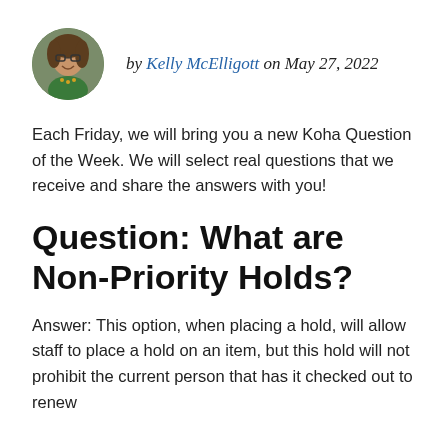[Figure (photo): Circular avatar photo of Kelly McElligott, a woman with glasses and curly hair, wearing a green top]
by Kelly McElligott on May 27, 2022
Each Friday, we will bring you a new Koha Question of the Week. We will select real questions that we receive and share the answers with you!
Question: What are Non-Priority Holds?
Answer: This option, when placing a hold, will allow staff to place a hold on an item, but this hold will not prohibit the current person that has it checked out to renew